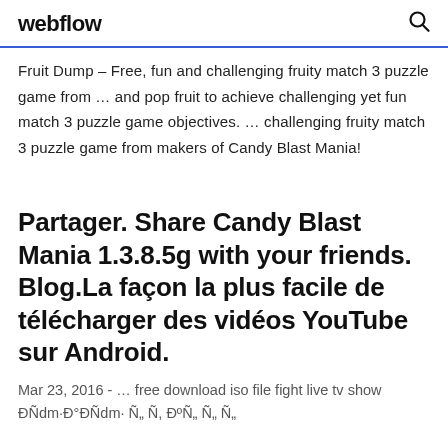webflow [search icon]
Fruit Dump – Free, fun and challenging fruity match 3 puzzle game from … and pop fruit to achieve challenging yet fun match 3 puzzle game objectives. … challenging fruity match 3 puzzle game from makers of Candy Blast Mania!
Partager. Share Candy Blast Mania 1.3.8.5g with your friends. Blog.La façon la plus facile de télécharger des vidéos YouTube sur Android.
Mar 23, 2016 - … free download iso file fight live tv show ÐÑdm·Ð°ÐÑdm· Ñ„ Ñ, ÐºÑ„ Ñ„ Ñ„